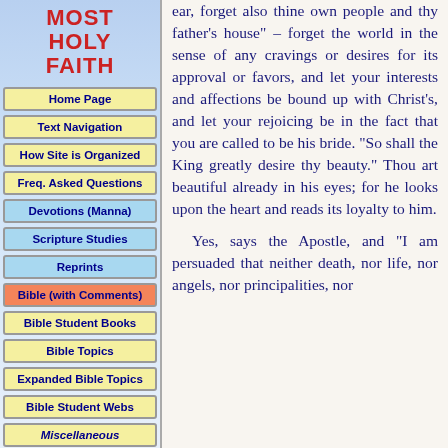MOST HOLY FAITH
Home Page
Text Navigation
How Site is Organized
Freq. Asked Questions
Devotions (Manna)
Scripture Studies
Reprints
Bible (with Comments)
Bible Student Books
Bible Topics
Expanded Bible Topics
Bible Student Webs
Miscellaneous
ear, forget also thine own people and thy father's house" – forget the world in the sense of any cravings or desires for its approval or favors, and let your interests and affections be bound up with Christ's, and let your rejoicing be in the fact that you are called to be his bride. "So shall the King greatly desire thy beauty." Thou art beautiful already in his eyes; for he looks upon the heart and reads its loyalty to him.
Yes, says the Apostle, and "I am persuaded that neither death, nor life, nor angels, nor principalities, nor